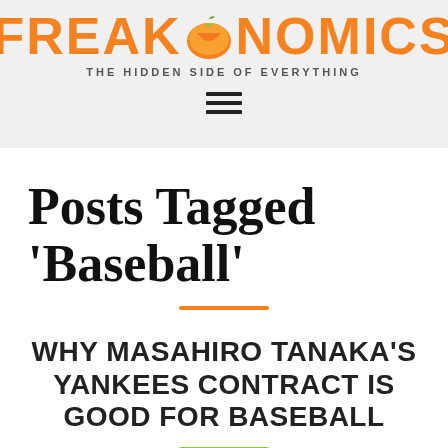FREAKONOMICS — THE HIDDEN SIDE OF EVERYTHING
Posts Tagged 'Baseball'
WHY MASAHIRO TANAKA'S YANKEES CONTRACT IS GOOD FOR BASEBALL
FEB 4, 2014